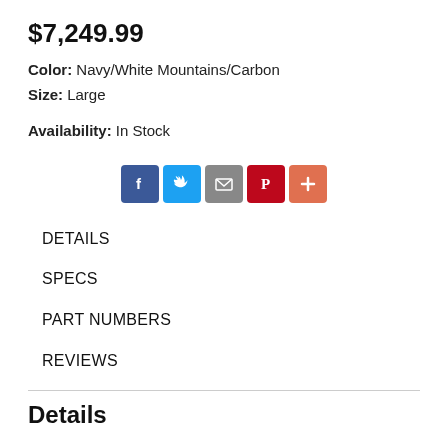$7,249.99
Color: Navy/White Mountains/Carbon
Size: Large
Availability: In Stock
[Figure (infographic): Social sharing icons: Facebook (blue), Twitter (light blue), Email (gray), Pinterest (red), More/Plus (orange-red)]
DETAILS
SPECS
PART NUMBERS
REVIEWS
Details